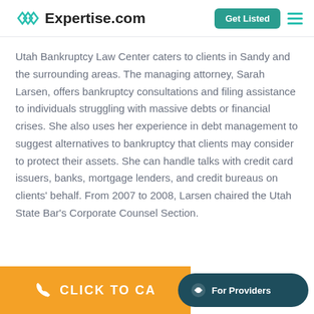Expertise.com
Utah Bankruptcy Law Center caters to clients in Sandy and the surrounding areas. The managing attorney, Sarah Larsen, offers bankruptcy consultations and filing assistance to individuals struggling with massive debts or financial crises. She also uses her experience in debt management to suggest alternatives to bankruptcy that clients may consider to protect their assets. She can handle talks with credit card issuers, banks, mortgage lenders, and credit bureaus on clients' behalf. From 2007 to 2008, Larsen chaired the Utah State Bar's Corporate Counsel Section.